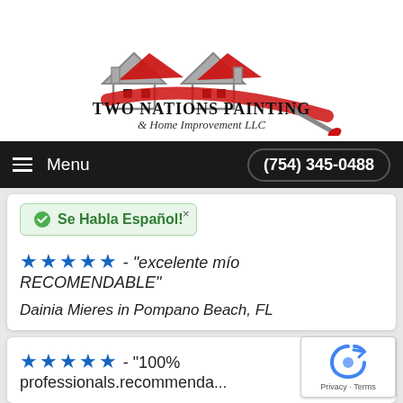[Figure (logo): Two Nations Painting & Home Improvement LLC logo with house rooftop graphic in red and gray, paint brush, and company name in stylized font]
Menu  (754) 345-0488
Se Habla Español!
★★★★★ - "excelente mío RECOMENDABLE"
Dainia Mieres in Pompano Beach, FL
★★★★★ - "100% professionals.recommenda..."